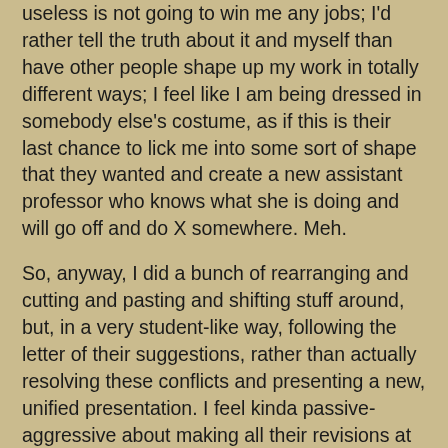useless  is not going to win me any jobs; I'd rather tell the truth about it and myself than have other people shape up my work in totally different ways; I feel like I am being dressed in somebody else's costume, as if this is their last chance to lick me into some sort of shape that they wanted and create a new assistant professor who knows what she is doing and will go off and do X somewhere. Meh.
So, anyway, I did a bunch of rearranging and cutting and pasting and shifting stuff around, but, in a very student-like way, following the letter of their suggestions, rather than actually resolving these conflicts and presenting a new, unified presentation. I feel kinda passive-aggressive about making all their revisions at this simplistic level while being incredibly resistant and hostile to the spirit of their suggestions, but I'm going to go in and talk with them about this in my meetings later this week and maybe things will get ironed out. Or I will yell and express all this resentment and get it out of my system somehow.
And in reading over my materials I realized that the only decision I made, was the decision not to decide anything. (So, all the, um, it's? The conversation that, uh, I heard from